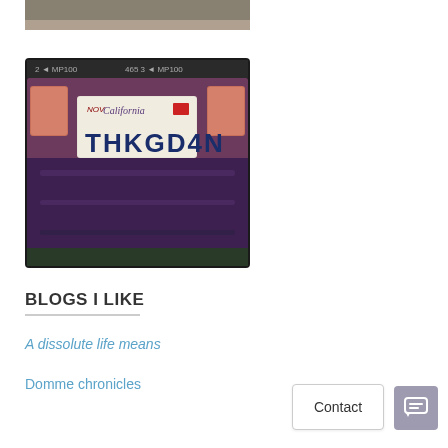[Figure (photo): Partial top edge of a photo, cropped, showing a car or outdoor scene]
[Figure (photo): Photo of a California license plate reading THKGD4N on a dark blue/purple car, shown on a smartphone screen with status bar visible]
BLOGS I LIKE
A dissolute life means
Domme chronicles